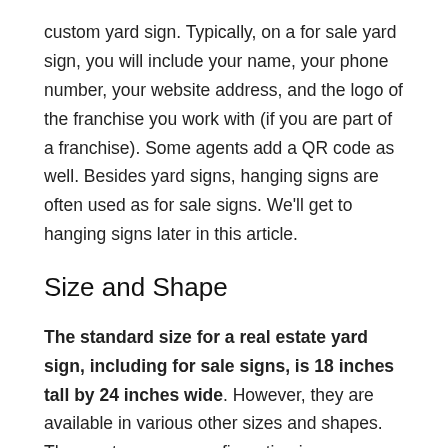custom yard sign. Typically, on a for sale yard sign, you will include your name, your phone number, your website address, and the logo of the franchise you work with (if you are part of a franchise). Some agents add a QR code as well. Besides yard signs, hanging signs are often used as for sale signs. We'll get to hanging signs later in this article.
Size and Shape
The standard size for a real estate yard sign, including for sale signs, is 18 inches tall by 24 inches wide. However, they are available in various other sizes and shapes. The most common configuration is rectangular, but you can find yard signs in plenty of other shapes. Using a novel sign shape for your for sale signs is one way to differentiate yourself from your competitors. Keep in mind, however, that most real estate franchises only allow their agents to use certain sizes